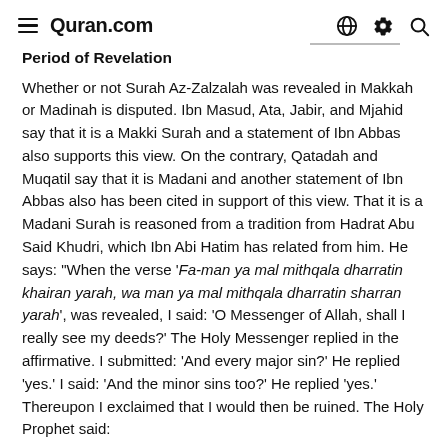≡ Quran.com
Period of Revelation
Whether or not Surah Az-Zalzalah was revealed in Makkah or Madinah is disputed. Ibn Masud, Ata, Jabir, and Mjahid say that it is a Makki Surah and a statement of Ibn Abbas also supports this view. On the contrary, Qatadah and Muqatil say that it is Madani and another statement of Ibn Abbas also has been cited in support of this view. That it is a Madani Surah is reasoned from a tradition from Hadrat Abu Said Khudri, which Ibn Abi Hatim has related from him. He says: "When the verse 'Fa-man ya mal mithqala dharratin khairan yarah, wa man ya mal mithqala dharratin sharran yarah', was revealed, I said: 'O Messenger of Allah, shall I really see my deeds?' The Holy Messenger replied in the affirmative. I submitted: 'And every major sin?' He replied 'yes.' I said: 'And the minor sins too?' He replied 'yes.' Thereupon I exclaimed that I would then be ruined. The Holy Prophet said: